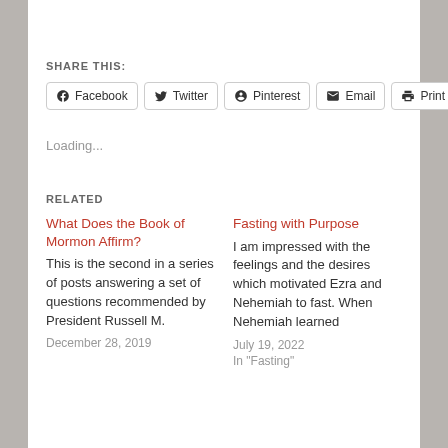SHARE THIS:
Facebook  Twitter  Pinterest  Email  Print
Loading...
RELATED
What Does the Book of Mormon Affirm?
This is the second in a series of posts answering a set of questions recommended by President Russell M.
December 28, 2019
Fasting with Purpose
I am impressed with the feelings and the desires which motivated Ezra and Nehemiah to fast. When Nehemiah learned
July 19, 2022
In "Fasting"